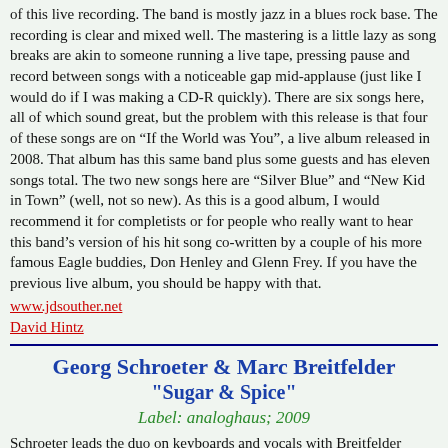of this live recording. The band is mostly jazz in a blues rock base. The recording is clear and mixed well. The mastering is a little lazy as song breaks are akin to someone running a live tape, pressing pause and record between songs with a noticeable gap mid-applause (just like I would do if I was making a CD-R quickly). There are six songs here, all of which sound great, but the problem with this release is that four of these songs are on “If the World was You”, a live album released in 2008. That album has this same band plus some guests and has eleven songs total. The two new songs here are “Silver Blue” and “New Kid in Town” (well, not so new). As this is a good album, I would recommend it for completists or for people who really want to hear this band’s version of his hit song co-written by a couple of his more famous Eagle buddies, Don Henley and Glenn Frey. If you have the previous live album, you should be happy with that.
www.jdsouther.net
David Hintz
Georg Schroeter & Marc Breitfelder "Sugar & Spice"
Label: analoghaus; 2009
Schroeter leads the duo on keyboards and vocals with Breitfelder offering up tasty harmonica licks throughout. Countless (well, fourteen) guest musicians fill in for a full band sound of light